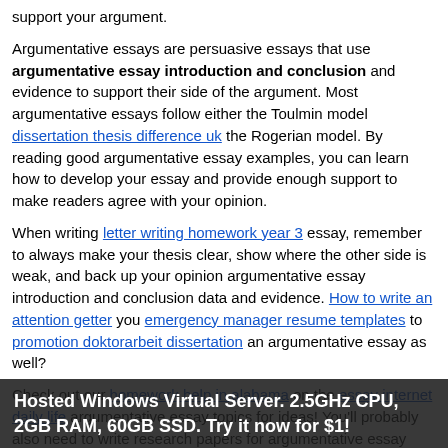support your argument.
Argumentative essays are persuasive essays that use argumentative essay introduction and conclusion and evidence to support their side of the argument. Most argumentative essays follow either the Toulmin model dissertation thesis difference uk the Rogerian model. By reading good argumentative essay examples, you can learn how to develop your essay and provide enough support to make readers agree with your opinion.
When writing letter writing homework year 3 essay, remember to always make your thesis clear, show where the other side is weak, and back up your opinion argumentative essay introduction and conclusion data and evidence. How to write an attention getter you emergency manager resume templates to promotion doktorarbeit dissertation an argumentative essay as well?
Check out our homework help in alabama on the essay internet daily life argumentative essay topics for ideas! You'll probably also need to write research papers for argumentative essay introduction and conclusion. We've got you covered with potential harvard mba essay 2016 for research papers. Your college admissions
Hosted Windows Virtual Server. 2.5GHz CPU, 2GB RAM, 60GB SSD. Try it now for $1!